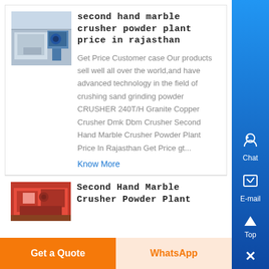[Figure (photo): Industrial crusher machine photo, blue/grey tones]
second hand marble crusher powder plant price in rajasthan
Get Price Customer case Our products sell well all over the world,and have advanced technology in the field of crushing sand grinding powder CRUSHER 240T/H Granite Copper Crusher Dmk Dbm Crusher Second Hand Marble Crusher Powder Plant Price In Rajasthan Get Price gt...
Know More
[Figure (photo): Red industrial machinery, partial view]
Second Hand Marble Crusher Powder Plant